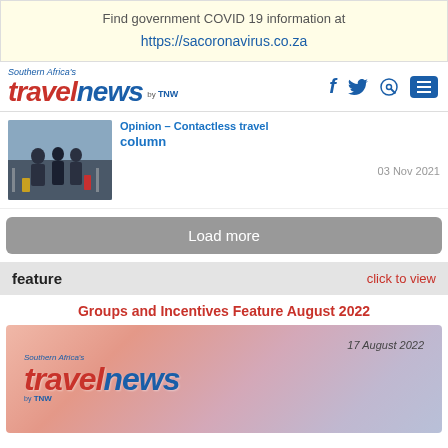Find government COVID 19 information at https://sacoronavirus.co.za
[Figure (logo): Southern Africa's travelnews by TNW logo with social media icons (Facebook, Twitter, Search, Menu)]
Opinion – Contactless travel column
03 Nov 2021
Load more
feature    click to view
Groups and Incentives Feature August 2022
[Figure (screenshot): Southern Africa's travelnews by TNW magazine cover image with date 17 August 2022, pink/warm sky background]